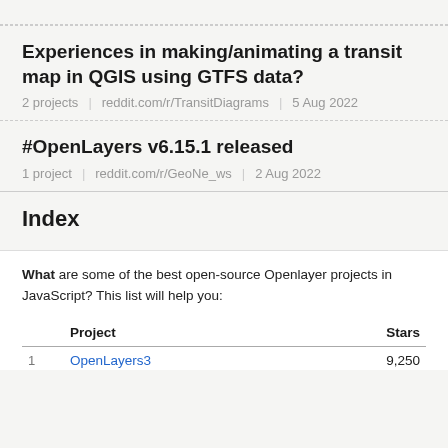Experiences in making/animating a transit map in QGIS using GTFS data?
2 projects  |  reddit.com/r/TransitDiagrams  |  5 Aug 2022
#OpenLayers v6.15.1 released
1 project  |  reddit.com/r/GeoNe_ws  |  2 Aug 2022
Index
What are some of the best open-source Openlayer projects in JavaScript? This list will help you:
|  | Project | Stars |
| --- | --- | --- |
| 1 | OpenLayers3 | 9,250 |